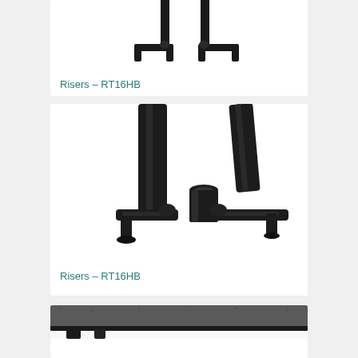[Figure (photo): Close-up photo of black metal riser stand legs/brackets from above, partially cropped at top of card]
Risers – RT16HB
[Figure (photo): Close-up photo of black metal riser stand base showing cylindrical tube connectors and horizontal crossbar, angled view]
Risers – RT16HB
[Figure (photo): Close-up photo of dark grey textured stage platform surface with black edge trim and folding leg visible, partially cropped]